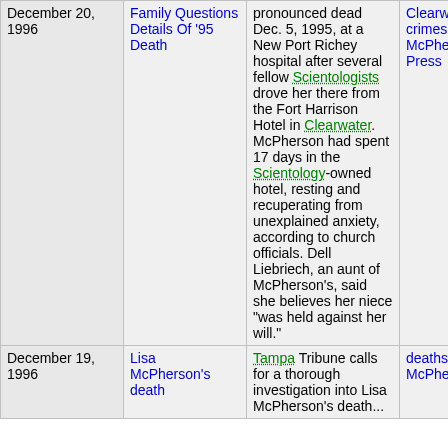| Date | Title | Content | Tags |
| --- | --- | --- | --- |
| December 20, 1996 | Family Questions Details Of '95 Death | pronounced dead Dec. 5, 1995, at a New Port Richey hospital after several fellow Scientologists drove her there from the Fort Harrison Hotel in Clearwater. McPherson had spent 17 days in the Scientology-owned hotel, resting and recuperating from unexplained anxiety, according to church officials. Dell Liebriech, an aunt of McPherson's, said she believes her niece "was held against her will." | Clearwater, crimes, Lisa McPherson, Press |
| December 19, 1996 | Lisa McPherson's death | Tampa Tribune calls for a thorough investigation into Lisa McPherson's death... | deaths, Lisa McPherson |